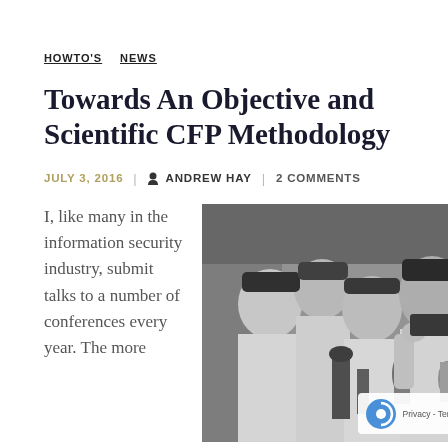HOWTO'S  NEWS
Towards An Objective and Scientific CFP Methodology
JULY 3, 2016  |  ANDREW HAY  |  2 COMMENTS
[Figure (photo): Black and white photo of scientists in lab coats in a laboratory setting]
I, like many in the information security industry, submit talks to a number of conferences every year. The more